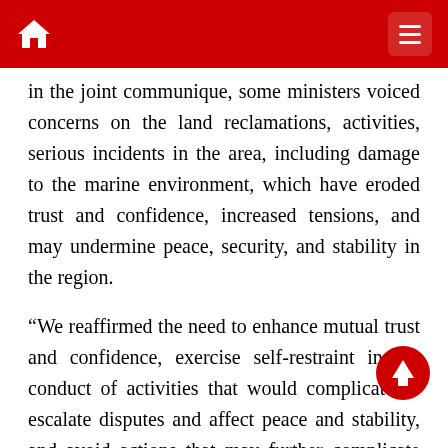Navigation header with home and menu icons
in the joint communique, some ministers voiced concerns on the land reclamations, activities, serious incidents in the area, including damage to the marine environment, which have eroded trust and confidence, increased tensions, and may undermine peace, security, and stability in the region.
“We reaffirmed the need to enhance mutual trust and confidence, exercise self-restraint in the conduct of activities that would complicate or escalate disputes and affect peace and stability, and avoid actions that may further complicate the situation,” they said.
The meeting further reaffirmed the need to pursue peaceful resolution of disputes in accordance with the